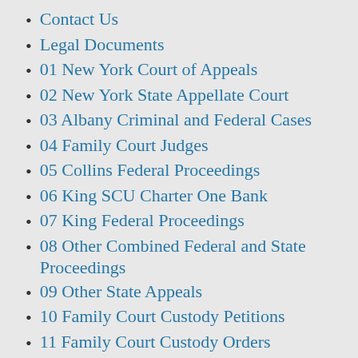Contact Us
Legal Documents
01 New York Court of Appeals
02 New York State Appellate Court
03 Albany Criminal and Federal Cases
04 Family Court Judges
05 Collins Federal Proceedings
06 King SCU Charter One Bank
07 King Federal Proceedings
08 Other Combined Federal and State Proceedings
09 Other State Appeals
10 Family Court Custody Petitions
11 Family Court Custody Orders
12 Family Court Custody Transcripts
13 Family Court Support Petitions